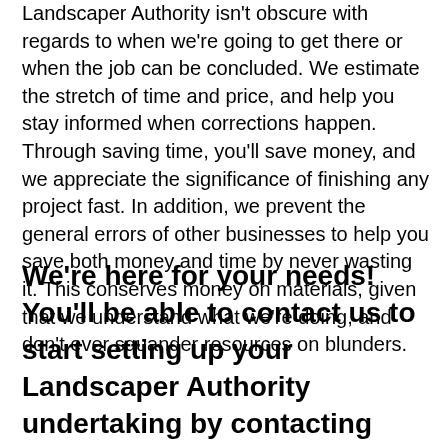Landscaper Authority isn't obscure with regards to when we're going to get there or when the job can be concluded. We estimate the stretch of time and price, and help you stay informed when corrections happen. Through saving time, you'll save money, and we appreciate the significance of finishing any project fast. In addition, we prevent the general errors of other businesses to help you save both money and time by never wasting it. This conserves money on materials, given that we understand what we're doing, and don't ever squander resources on blunders.
We're here for your needs! You'll be able to contact us to start setting up your Landscaper Authority undertaking by contacting 888-272-0877 right now.